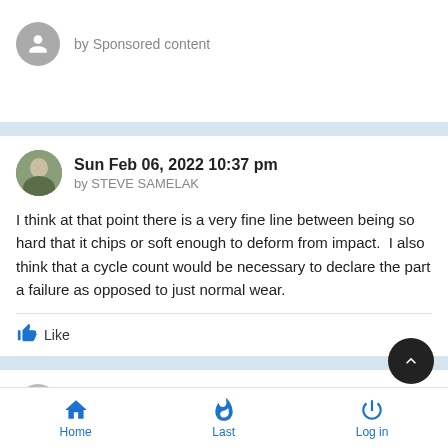by Sponsored content
Sun Feb 06, 2022 10:37 pm
by STEVE SAMELAK
I think at that point there is a very fine line between being so hard that it chips or soft enough to deform from impact.  I also think that a cycle count would be necessary to declare the part a failure as opposed to just normal wear.
Like
Sun Feb 06, 2022 11:36 pm
Home   Last   Log in